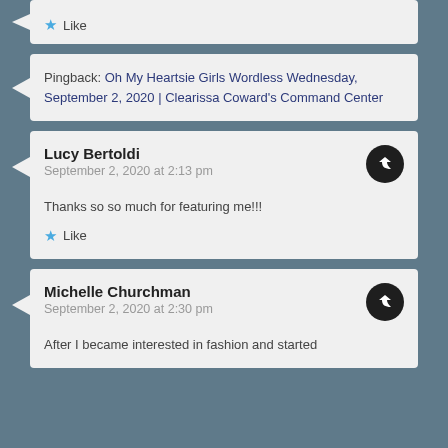Like
Pingback: Oh My Heartsie Girls Wordless Wednesday,  September 2, 2020 | Clearissa Coward's Command Center
Lucy Bertoldi
September 2, 2020 at 2:13 pm
Thanks so so much for featuring me!!!
Like
Michelle Churchman
September 2, 2020 at 2:30 pm
After I became interested in fashion and started